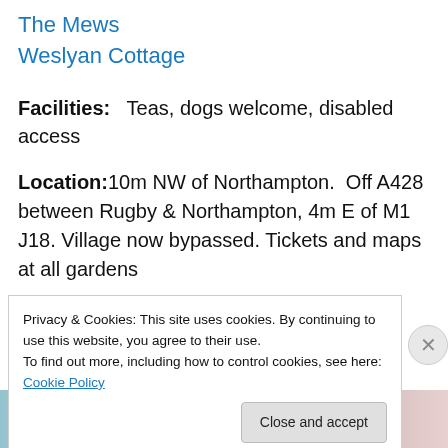The Mews
Weslyan Cottage
Facilities:   Teas, dogs welcome, disabled access
Location:10m NW of Northampton.  Off A428 between Rugby & Northampton, 4m E of M1 J18. Village now bypassed. Tickets and maps at all gardens
Sunday June 24
Privacy & Cookies: This site uses cookies. By continuing to use this website, you agree to their use.
To find out more, including how to control cookies, see here: Cookie Policy
Close and accept